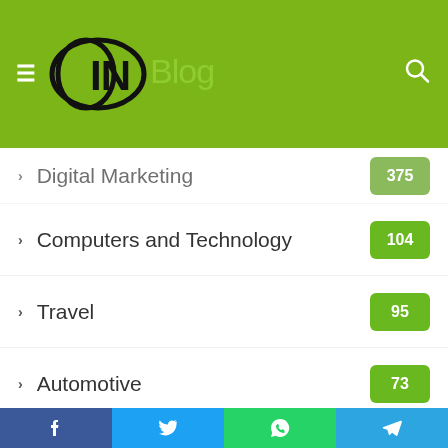CIN Blog
Digital Marketing
Computers and Technology 104
Travel 95
Automotive 73
Lifestyle 70
Uncategorized 68
Finance 54
Software 50
Life Style 40
App Development 34
SEO
Facebook Twitter WhatsApp Telegram